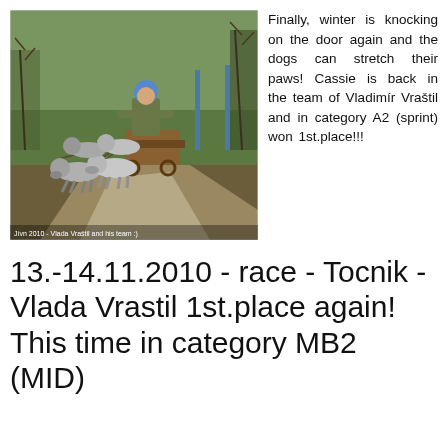[Figure (photo): A person riding a dog sled cart pulled by multiple huskies on a muddy dirt track, with green fields and bare trees in the background. Caption reads: Jívn 2010 - Vlada Vraštil and his team :)]
Finally, winter is knocking on the door again and the dogs can stretch their paws! Cassie is back in the team of Vladimír Vraštil and in category A2 (sprint) won 1st.place!!!
13.-14.11.2010 - race - Tocnik - Vlada Vrastil 1st.place again! This time in category MB2 (MID)